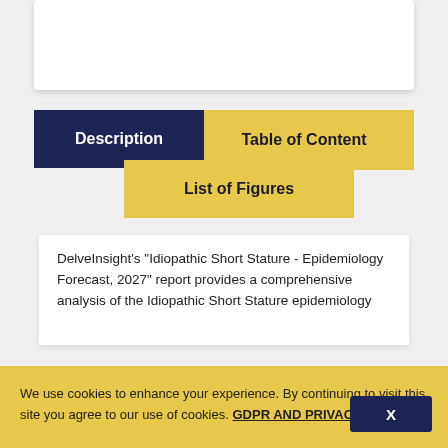[Figure (screenshot): Top white card/panel, partially visible at top of page]
Description
Table of Content
List of Figures
DelveInsight's "Idiopathic Short Stature - Epidemiology Forecast, 2027" report provides a comprehensive analysis of the Idiopathic Short Stature epidemiology
We use cookies to enhance your experience. By continuing to visit this site you agree to our use of cookies. GDPR AND PRIVACY POLICY